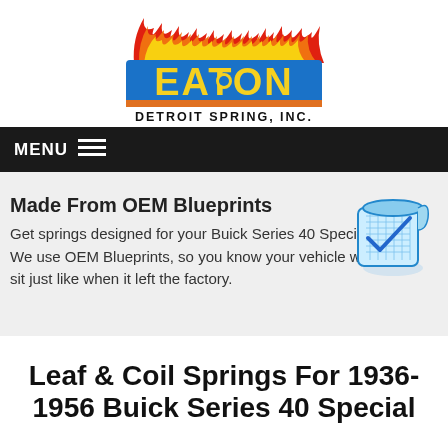[Figure (logo): Eaton Detroit Spring, Inc. logo with flames and blue/yellow text on orange background bar]
MENU ☰
Made From OEM Blueprints
Get springs designed for your Buick Series 40 Special. We use OEM Blueprints, so you know your vehicle will sit just like when it left the factory.
Leaf & Coil Springs For 1936-1956 Buick Series 40 Special